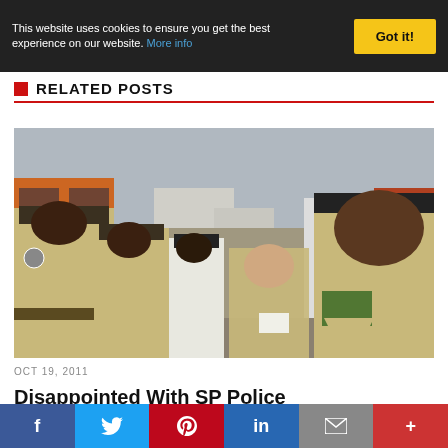This website uses cookies to ensure you get the best experience on our website. More info | Got it!
RELATED POSTS
[Figure (photo): Group of police officers in tan/khaki uniforms with badges and insignia standing outdoors, with a civilian man in the center holding papers, street scene in background]
OCT 19, 2011
Disappointed With SP Police
f | Twitter | Pinterest | in | Email | +